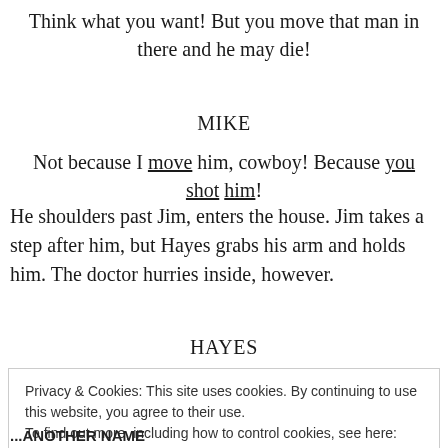Think what you want! But you move that man in there and he may die!
MIKE
Not because I move him, cowboy! Because you shot him!
He shoulders past Jim, enters the house. Jim takes a step after him, but Hayes grabs his arm and holds him. The doctor hurries inside, however.
HAYES
Privacy & Cookies: This site uses cookies. By continuing to use this website, you agree to their use.
To find out more, including how to control cookies, see here: Cookie Policy
Close and accept
...ANOTHER NAME